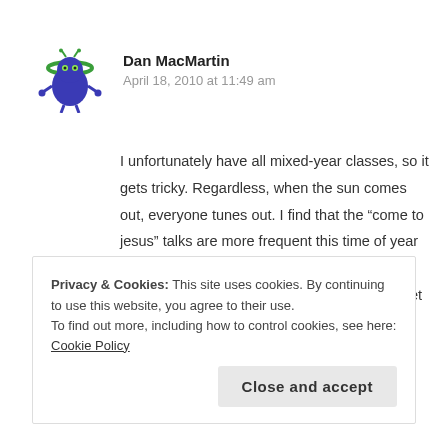[Figure (illustration): Blue cartoon robot/alien avatar icon with green antennae and claw-like appendages]
Dan MacMartin
April 18, 2010 at 11:49 am
I unfortunately have all mixed-year classes, so it gets tricky. Regardless, when the sun comes out, everyone tunes out. I find that the “come to jesus” talks are more frequent this time of year anyway. I pre-talked my juniors/seniors in February and said “you have to do x, y, z to get out of here in one piece”. They all bought in (surprisingly). I have a few that know if they coast, they can pass, and have tuned out. On some level this annoys
Privacy & Cookies: This site uses cookies. By continuing to use this website, you agree to their use.
To find out more, including how to control cookies, see here: Cookie Policy
Close and accept